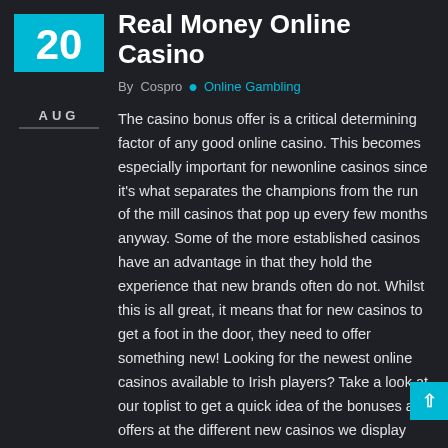Real Money Online Casino
By Cospro • Online Gambling
The casino bonus offer is a critical determining factor of any good online casino. This becomes especially important for newonline casinos since it's what separates the champions from the run of the mill casinos that pop up every few months anyway. Some of the more established casinos have an advantage in that they hold the experience that new brands often do not. Whilst this is all great, it means that for new casinos to get a foot in the door, they need to offer something new! Looking for the newest online casinos available to Irish players? Take a look at our toplist to get a quick idea of the bonuses and offers at the different new casinos we display there. You can also go a bit more in-depth and read our reviews for more detail.